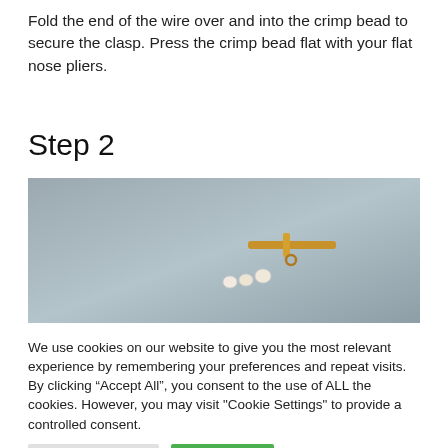Fold the end of the wire over and into the crimp bead to secure the clasp. Press the crimp bead flat with your flat nose pliers.
Step 2
[Figure (photo): A gold toggle clasp bar piece resting on a blue-grey surface, with what appears to be beading wire or pearl strand attached.]
We use cookies on our website to give you the most relevant experience by remembering your preferences and repeat visits. By clicking “Accept All”, you consent to the use of ALL the cookies. However, you may visit "Cookie Settings" to provide a controlled consent.
Cookie Settings  Accept All